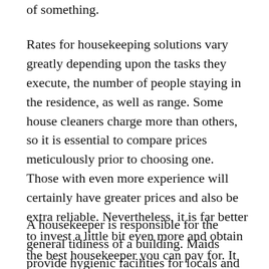of something.
Rates for housekeeping solutions vary greatly depending upon the tasks they execute, the number of people staying in the residence, as well as range. Some house cleaners charge more than others, so it is essential to compare prices meticulously prior to choosing one. Those with even more experience will certainly have greater prices and also be extra reliable. Nevertheless, it is far better to invest a little bit even more and obtain the best housekeeper you can pay for. It will settle over time. Yet do bear in mind to keep in mind that hiring a house cleaner is not less costly than hiring a cleaner.
A housekeeper is responsible for the general tidiness of a building. Maids provide hygienic facilities for locals and also guests. Their duties consist of cleaning up floors, dusting surfaces, and